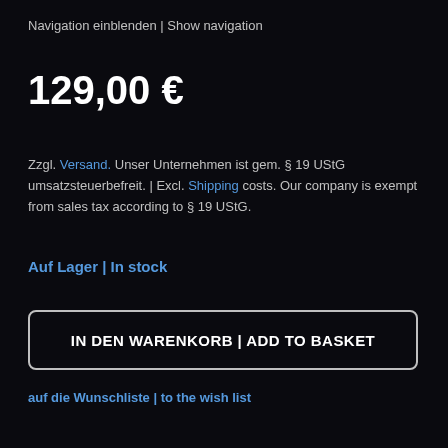Navigation einblenden | Show navigation
129,00 €
Zzgl. Versand. Unser Unternehmen ist gem. § 19 UStG umsatzsteuerbefreit. | Excl. Shipping costs. Our company is exempt from sales tax according to § 19 UStG.
Auf Lager | In stock
IN DEN WARENKORB | ADD TO BASKET
auf die Wunschliste | to the wish list